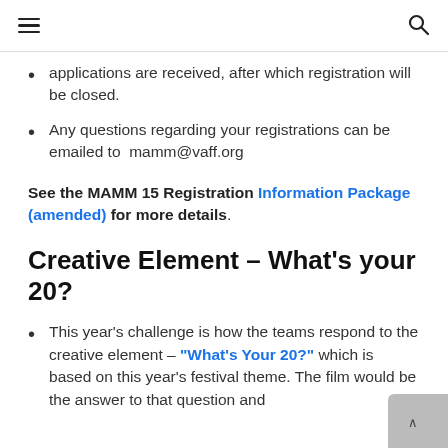≡  🔍
applications are received, after which registration will be closed.
Any questions regarding your registrations can be emailed to  mamm@vaff.org
See the MAMM 15 Registration Information Package (amended) for more details.
Creative Element - What's your 20?
This year's challenge is how the teams respond to the creative element – "What's Your 20?" which is based on this year's festival theme. The film would be the answer to that question and